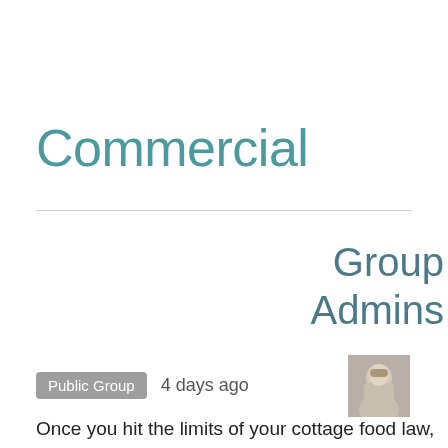Commercial
Group Admins
[Figure (photo): Small square avatar photo of a person with light hair]
Public Group  4 days ago
Once you hit the limits of your cottage food law, it's